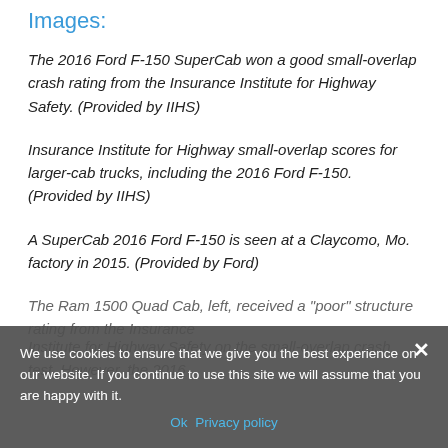Images:
The 2016 Ford F-150 SuperCab won a good small-overlap crash rating from the Insurance Institute for Highway Safety. (Provided by IIHS)
Insurance Institute for Highway small-overlap scores for larger-cab trucks, including the 2016 Ford F-150. (Provided by IIHS)
A SuperCab 2016 Ford F-150 is seen at a Claycomo, Mo. factory in 2015. (Provided by Ford)
The Ram 1500 Quad Cab, left, received a "poor" structure rating from the Insurance Institute for Highway Safety on the small-overlap crash test. However, the 2016
We use cookies to ensure that we give you the best experience on our website. If you continue to use this site we will assume that you are happy with it.